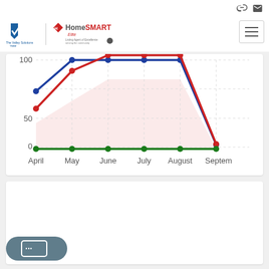[Figure (logo): The Valley Solutions Team and HomeSmart Elite Group logos]
[Figure (line-chart): Market Trends April–September]